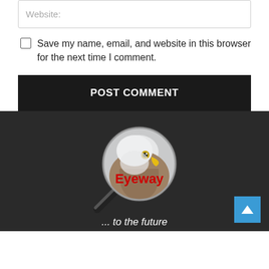Website:
Save my name, email, and website in this browser for the next time I comment.
POST COMMENT
[Figure (logo): Eyeway logo: a magnifying glass with a bald eagle head inside a circular lens, with 'Eyeway' text in red overlaid on the eagle, and a tagline '... to the future' in white italic text below, on a dark background.]